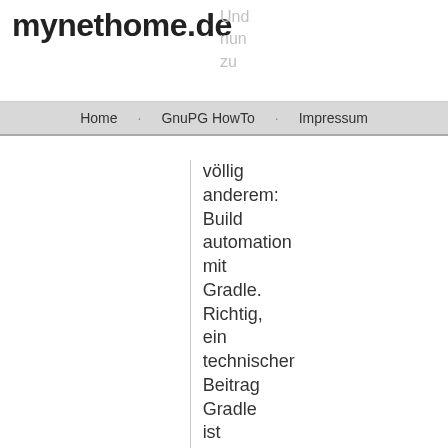mynethome.de
Home  GnuPG HowTo  Impressum
völlig anderem: Build automation mit Gradle. Richtig, ein technischer Beitrag Gradle ist ein sehr interessates und mächtiges Buildsystem, dass nicht wie